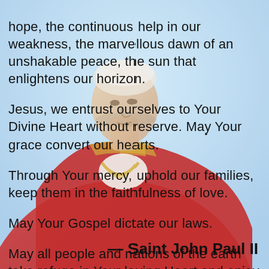[Figure (photo): Background photo of Saint John Paul II wearing red papal vestments with gold embroidery, set against a light blue sky background. The Pope is shown from the torso up, slightly bowed forward.]
hope, the continuous help in our weakness, the marvellous dawn of an unshakable peace, the sun that enlightens our horizon.
Jesus, we entrust ourselves to Your Divine Heart without reserve. May Your grace convert our hearts.
Through Your mercy, uphold our families, keep them in the faithfulness of love.
May Your Gospel dictate our laws.
May all people and nations of the earth take refuge in Your loving Heart and enjoy the peace You offer the world through a pure source of love and charity, from Your merciful Heart.
Amen.
— Saint John Paul II